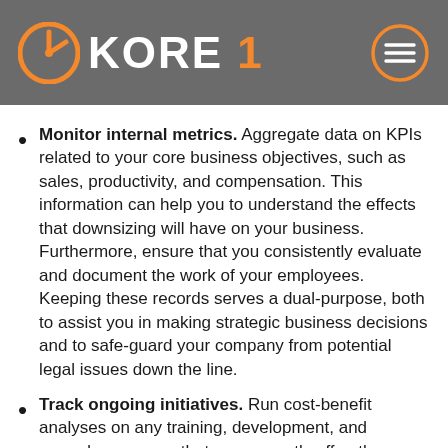KORE 1
Monitor internal metrics. Aggregate data on KPIs related to your core business objectives, such as sales, productivity, and compensation. This information can help you to understand the effects that downsizing will have on your business. Furthermore, ensure that you consistently evaluate and document the work of your employees. Keeping these records serves a dual-purpose, both to assist you in making strategic business decisions and to safe-guard your company from potential legal issues down the line.
Track ongoing initiatives. Run cost-benefit analyses on any training, development, and rewards programs that you currently offer, then determine which programs contribute the least value and ROI to the organization. Equipped with this insight, you